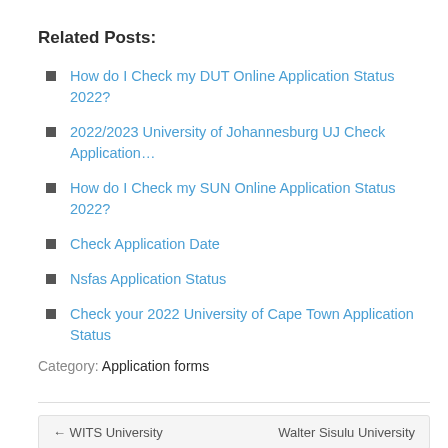Related Posts:
How do I Check my DUT Online Application Status 2022?
2022/2023 University of Johannesburg UJ Check Application…
How do I Check my SUN Online Application Status 2022?
Check Application Date
Nsfas Application Status
Check your 2022 University of Cape Town Application Status
Category: Application forms
← WITS University   Walter Sisulu University